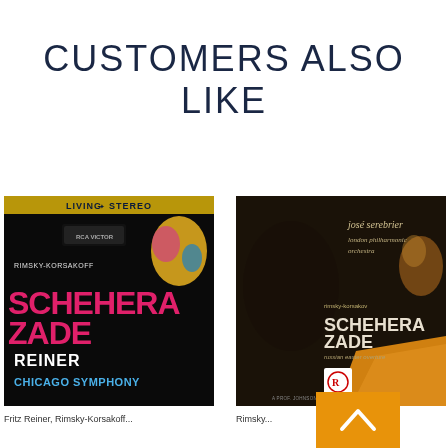CUSTOMERS ALSO LIKE
[Figure (photo): Album cover for Rimsky-Korsakoff Scheherazade performed by Reiner and Chicago Symphony. Living Stereo RCA Victor label. Black background with colorful artwork and pink text.]
[Figure (photo): Album cover for Rimsky-Korsakov Scheherazade Russian Easter Overture performed by José Serebrier and London Philharmonic Orchestra. Reference Recordings label. Dark background with conductor and orange/gold fabric imagery.]
Fritz Reiner, Rimsky-Korsakoff...
Rimsky...